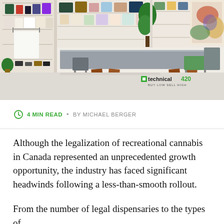[Figure (photo): Interior of a modern cannabis retail store with shelves displaying products, a large grey table with orange wooden legs in the foreground, chairs, and plants. A 'technical420 BUY LOW SELL HIGH' watermark is visible in the lower right corner.]
4 MIN READ • BY MICHAEL BERGER
Although the legalization of recreational cannabis in Canada represented an unprecedented growth opportunity, the industry has faced significant headwinds following a less-than-smooth rollout.
From the number of legal dispensaries to the types of